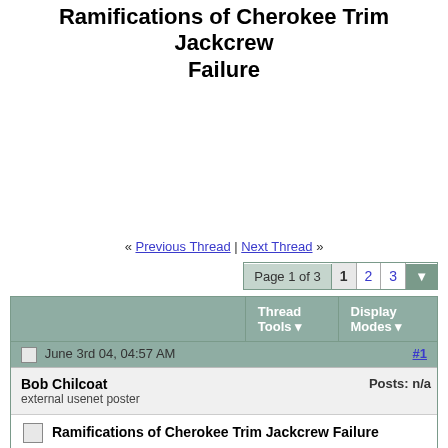Ramifications of Cherokee Trim Jackcrew Failure
« Previous Thread | Next Thread »
Page 1 of 3  1  2  3
|  | Thread Tools ▼ | Display Modes ▼ |
| --- | --- | --- |
June 3rd 04, 04:57 AM   #1
Bob Chilcoat
external usenet poster
Posts: n/a
Ramifications of Cherokee Trim Jackcrew Failure
As I mentioned in a couple of other threads in RAP recently, the trim jackscrew is very worn in our '74 Archer. The wear seems to be nearly half of the thread depth. In other words, you can move the screw laterally inside the drum about half of the height of a thread. It can be rocked angularly inside the drum something like 5-7 degrees. Our A&P can't get to it to replace it until mid July, so I'm trying to decide if we should ground